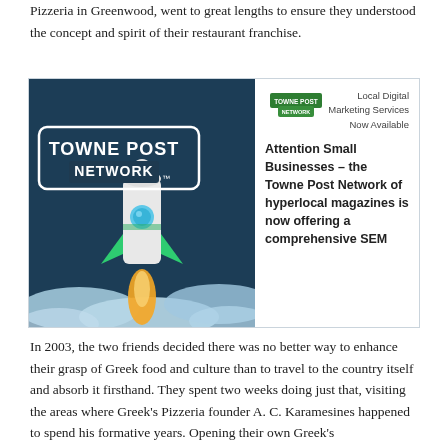Pizzeria in Greenwood, went to great lengths to ensure they understood the concept and spirit of their restaurant franchise.
[Figure (illustration): Advertisement box for Towne Post Network showing a rocket launching with the Towne Post Network logo on the left side, and on the right side a small logo, text reading 'Local Digital Marketing Services Now Available', and bold text 'Attention Small Businesses – the Towne Post Network of hyperlocal magazines is now offering a comprehensive SEM']
In 2003, the two friends decided there was no better way to enhance their grasp of Greek food and culture than to travel to the country itself and absorb it firsthand. They spent two weeks doing just that, visiting the areas where Greek's Pizzeria founder A. C. Karamesines happened to spend his formative years. Opening their own Greek's